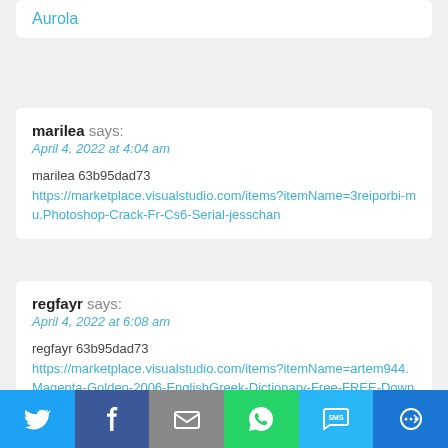Aurola
marilea says:
April 4, 2022 at 4:04 am

marilea 63b95dad73
https://marketplace.visualstudio.com/items?itemName=3reiporbi-mu.Photoshop-Crack-Fr-Cs6-Serial-jesschan
regfayr says:
April 4, 2022 at 6:08 am

regfayr 63b95dad73
https://marketplace.visualstudio.com/items?itemName=artem944.Magenta-Golden-2006-EnglishGreek-Dictionary-Free-FREE-Download
[Figure (infographic): Social sharing bar with icons for Twitter, Facebook, Email, WhatsApp, SMS, and More]